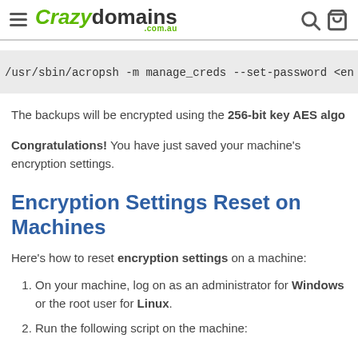Crazy domains .com.au
[Figure (screenshot): Code block showing command: /usr/sbin/acropsh -m manage_creds --set-password <en...]
The backups will be encrypted using the 256-bit key AES algo...
Congratulations! You have just saved your machine's encryption settings.
Encryption Settings Reset on Machines
Here's how to reset encryption settings on a machine:
On your machine, log on as an administrator for Windows or the root user for Linux.
Run the following script on the machine: